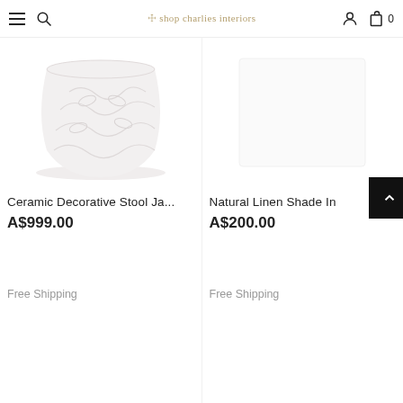☩ shop charlies interiors
[Figure (photo): Ceramic decorative stool jar with floral/botanical embossed pattern on a white/light grey background]
Ceramic Decorative Stool Ja...
A$999.00
Free Shipping
Natural Linen Shade In
A$200.00
Free Shipping